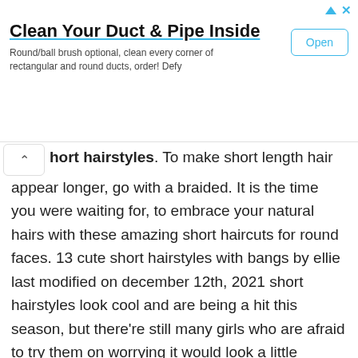[Figure (screenshot): Advertisement banner for 'Clean Your Duct & Pipe Inside' with an Open button and close controls]
hort hairstyles. To make short length hair appear longer, go with a braided. It is the time you were waiting for, to embrace your natural hairs with these amazing short haircuts for round faces. 13 cute short hairstyles with bangs by ellie last modified on december 12th, 2021 short hairstyles look cool and are being a hit this season, but there're still many girls who are afraid to try them on worrying it would look a little masculine to some extents as most short haircuts are curved in towards the chin with heavily textured ends and irregular outline.